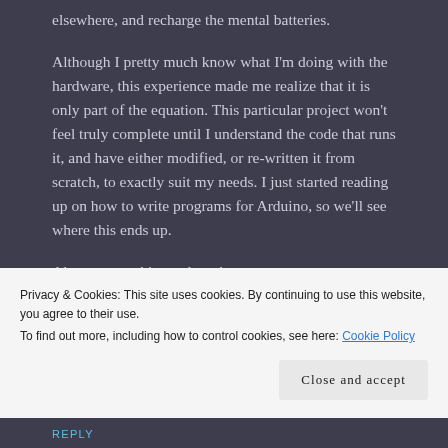elsewhere, and recharge the mental batteries.
Although I pretty much know what I'm doing with the hardware, this experience made me realize that it is only part of the equation. This particular project won't feel truly complete until I understand the code that runs it, and have either modified, or re-written it from scratch, to exactly suit my needs. I just started reading up on how to write programs for Arduino, so we'll see where this ends up.
Always something to learn!
73 for now, and always good to see you (in the online sense,
Privacy & Cookies: This site uses cookies. By continuing to use this website, you agree to their use.
To find out more, including how to control cookies, see here: Cookie Policy
Close and accept
REPLY